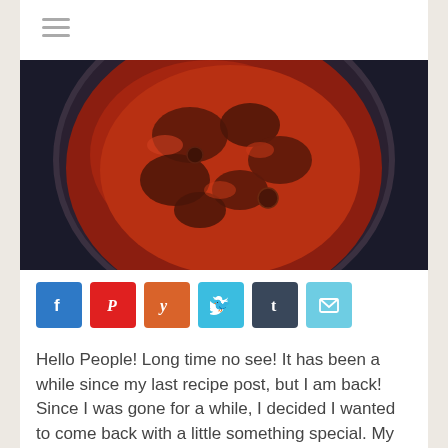[Figure (photo): Overhead view of a dark pot filled with tomato-based stew or braised meat in rich red sauce, photographed on a dark background.]
[Figure (infographic): A row of six social media share buttons: Facebook (blue), Pinterest (red), Yummly (orange), Twitter (light blue), Tumblr (dark navy), and Email (light teal).]
Hello People! Long time no see! It has been a while since my last recipe post, but I am back! Since I was gone for a while, I decided I wanted to come back with a little something special. My tomato